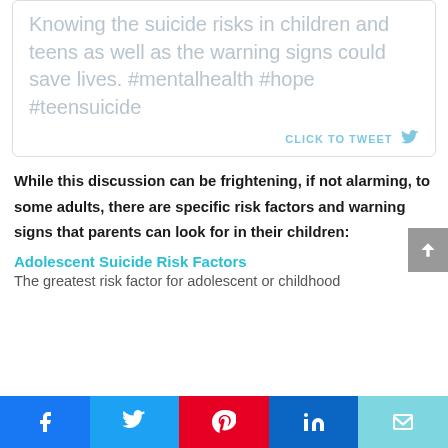Knowing the suicide risks in children and teens as well as the warning signs could save lives. #mentalhealth #hope #teensuicide
CLICK TO TWEET
While this discussion can be frightening, if not alarming, to some adults, there are specific risk factors and warning signs that parents can look for in their children:
Adolescent Suicide Risk Factors
The greatest risk factor for adolescent or childhood